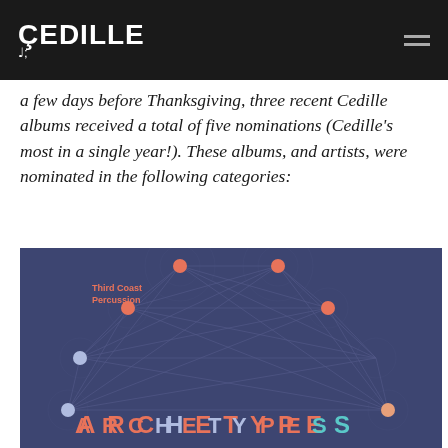CEDILLE
a few days before Thanksgiving, three recent Cedille albums received a total of five nominations (Cedille's most in a single year!). These albums, and artists, were nominated in the following categories:
[Figure (illustration): Album cover for 'Archetypes' by Third Coast Percussion on dark blue background with geometric network pattern and colored dots. Title 'ARCHETYPES' in large spaced letters at bottom in coral/teal colors.]